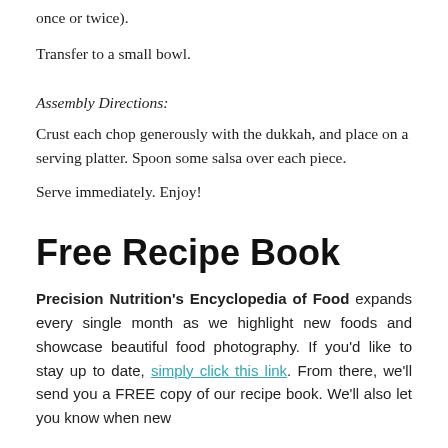once or twice).
Transfer to a small bowl.
Assembly Directions:
Crust each chop generously with the dukkah, and place on a serving platter. Spoon some salsa over each piece.
Serve immediately. Enjoy!
Free Recipe Book
Precision Nutrition's Encyclopedia of Food expands every single month as we highlight new foods and showcase beautiful food photography. If you'd like to stay up to date, simply click this link. From there, we'll send you a FREE copy of our recipe book. We'll also let you know when new